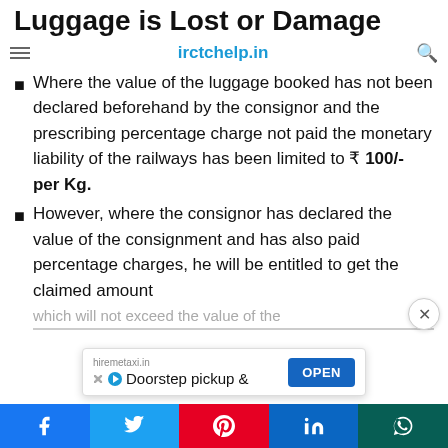Luggage is Lost or Damage
irctchelp.in
Where the value of the luggage booked has not been declared beforehand by the consignor and the prescribing percentage charge not paid the monetary liability of the railways has been limited to ₹ 100/- per Kg.
However, where the consignor has declared the value of the consignment and has also paid percentage charges, he will be entitled to get the claimed amount which will not exceed the value of the
hiremetaxi.in  Doorstep pickup &  OPEN
Facebook Twitter Pinterest LinkedIn WhatsApp